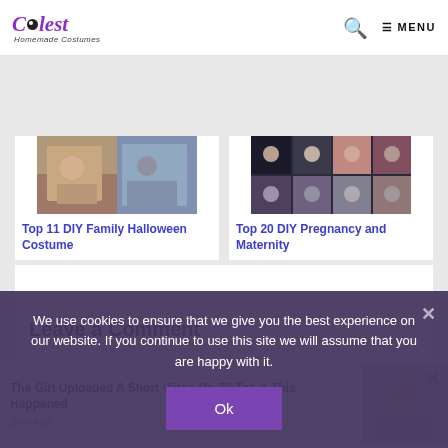[Figure (logo): Coolest Homemade Costumes logo - purple stylized text with circle graphic]
MENU (navigation bar with search icon and menu button)
[Figure (photo): Collage photo for Top 11 DIY Family Halloween Costume article]
Top 11 DIY Family Halloween Costume
[Figure (photo): Collage photo for Top 20 DIY Pregnancy and Maternity article]
Top 20 DIY Pregnancy and Maternity
Leave a Comment
[Figure (photo): Video thumbnail of woman for TikTok video promo]
The Girl Uploaded A Short Video On TikTok & This Happened
Snnurse
We use cookies to ensure that we give you the best experience on our website. If you continue to use this site we will assume that you are happy with it.
Ok